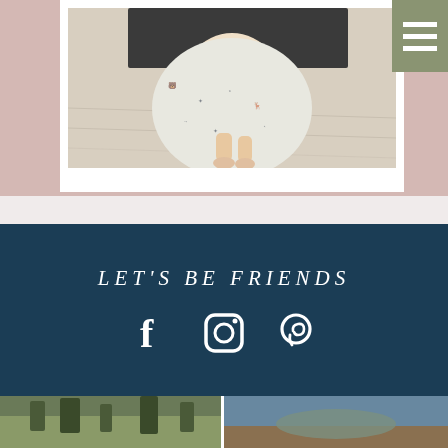[Figure (photo): Child sitting on a light wood floor wrapped in a large white patterned blanket with wilderness/forest animal prints. Child's bare legs and feet are visible. Background is blurred dark.]
[Figure (infographic): Olive/sage green navigation menu icon with three horizontal white lines (hamburger menu) on top right corner.]
LET'S BE FRIENDS
[Figure (infographic): Social media icons: Facebook, Instagram, and Pinterest, displayed in white on a dark navy background.]
[Figure (photo): Bottom strip showing two partial photos side by side: left appears to be a forest/nature scene, right appears to be a landscape or outdoor scene.]